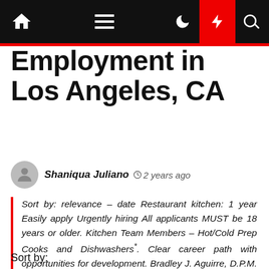[Navigation bar with home icon, hamburger menu, moon icon, lightning icon, search icon]
Employment in Los Angeles, CA
Shaniqua Juliano  2 years ago
Sort by: relevance – date Restaurant kitchen: 1 year Easily apply Urgently hiring All applicants MUST be 18 years or older. Kitchen Team Members – Hot/Cold Prep Cooks and Dishwashers*. Clear career path with opportunities for development. Bradley J. Aguirre, D.P.M. Glendale, CA 91208 (San Rafael Hills area) $13 – $15 […]
Sort by: